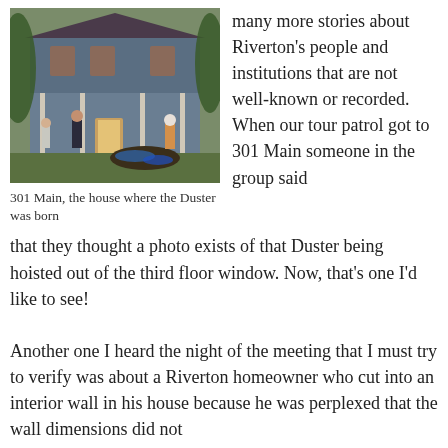[Figure (photo): Outdoor photograph showing three people standing in front of a large blue-gray house with a porch. There is a pile of dirt or mulch with blue tarps on the driveway. Trees and shrubs visible in background.]
301 Main, the house where the Duster was born
many more stories about Riverton's people and institutions that are not well-known or recorded. When our tour patrol got to 301 Main someone in the group said that they thought a photo exists of that Duster being hoisted out of the third floor window. Now, that's one I'd like to see!
Another one I heard the night of the meeting that I must try to verify was about a Riverton homeowner who cut into an interior wall in his house because he was perplexed that the wall dimensions did not